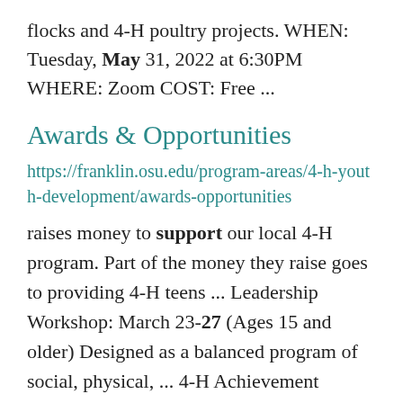flocks and 4-H poultry projects. WHEN: Tuesday, May 31, 2022 at 6:30PM WHERE: Zoom COST: Free ...
Awards & Opportunities
https://franklin.osu.edu/program-areas/4-h-youth-development/awards-opportunities
raises money to support our local 4-H program. Part of the money they raise goes to providing 4-H teens ... Leadership Workshop: March 23-27 (Ages 15 and older) Designed as a balanced program of social, physical, ... 4-H Achievement Awards These 27 awards recognize a 4-H member's achievement in a specific area